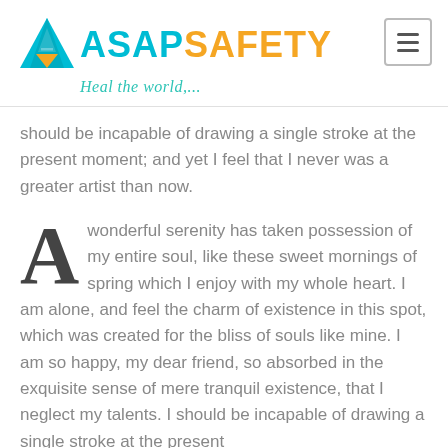[Figure (logo): ASAP Safety logo with triangular icon and tagline 'Heal the world,...']
should be incapable of drawing a single stroke at the present moment; and yet I feel that I never was a greater artist than now.
A wonderful serenity has taken possession of my entire soul, like these sweet mornings of spring which I enjoy with my whole heart. I am alone, and feel the charm of existence in this spot, which was created for the bliss of souls like mine. I am so happy, my dear friend, so absorbed in the exquisite sense of mere tranquil existence, that I neglect my talents. I should be incapable of drawing a single stroke at the present